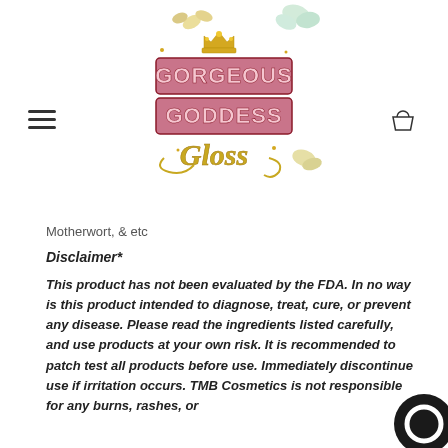[Figure (logo): Gorgeous Goddess Gloss logo with pink and gold glittery text, gold crown, and decorative butterflies]
Motherwort, & etc
Disclaimer*
This product has not been evaluated by the FDA. In no way is this product intended to diagnose, treat, cure, or prevent any disease. Please read the ingredients listed carefully, and use products at your own risk. It is recommended to patch test all products before use. Immediately discontinue use if irritation occurs. TMB Cosmetics is not responsible for any burns, rashes, or